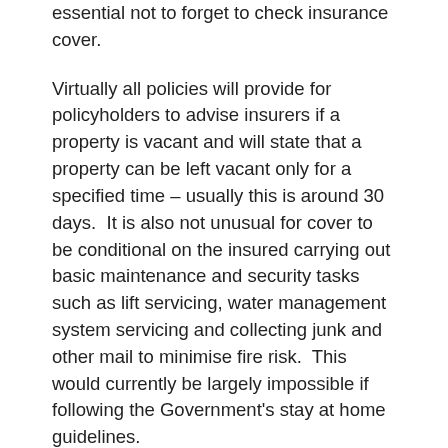essential not to forget to check insurance cover.
Virtually all policies will provide for policyholders to advise insurers if a property is vacant and will state that a property can be left vacant only for a specified time – usually this is around 30 days.  It is also not unusual for cover to be conditional on the insured carrying out basic maintenance and security tasks such as lift servicing, water management system servicing and collecting junk and other mail to minimise fire risk.  This would currently be largely impossible if following the Government's stay at home guidelines.
Some of the UK's largest insurers have recently announced extensions of the period during which they will allow properties to remain unoccupied and